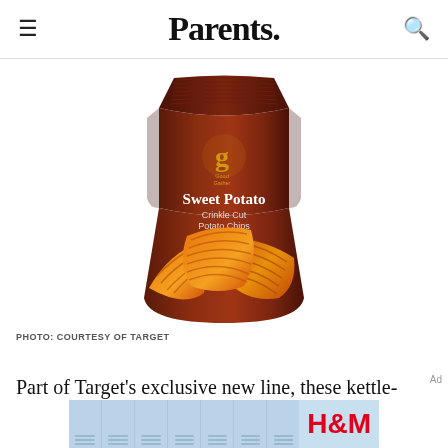Parents.
[Figure (photo): Bag of Good Gather brand Sweet Potato Crinkle Cut Potato Chips from Target — dark reddish-brown bag with orange crinkle cut chips shown at the bottom]
PHOTO: COURTESY OF TARGET
Part of Target's exclusive new line, these kettle-
[Figure (other): H&M advertisement banner with school lockers imagery]